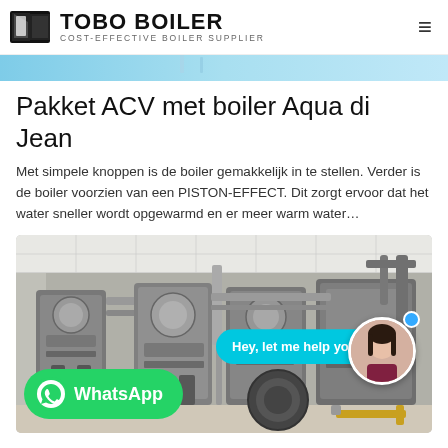TOBO BOILER — COST-EFFECTIVE BOILER SUPPLIER
[Figure (photo): Top banner photo strip — industrial boiler/water heater equipment, blue-gray tones]
Pakket ACV met boiler Aqua di Jean
Met simpele knoppen is de boiler gemakkelijk in te stellen. Verder is de boiler voorzien van een PISTON-EFFECT. Dit zorgt ervoor dat het water sneller wordt opgewarmd en er meer warm water…
[Figure (photo): Industrial boiler room with multiple large grey boiler units and piping, with a live chat overlay showing 'Hey, let me help you!' speech bubble, an avatar of a woman, and a WhatsApp button at the bottom left]